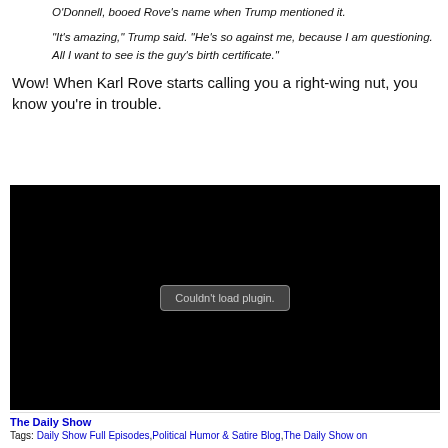O'Donnell, booed Rove's name when Trump mentioned it.
"It's amazing," Trump said. "He's so against me, because I am questioning. All I want to see is the guy's birth certificate."
Wow! When Karl Rove starts calling you a right-wing nut, you know you're in trouble.
[Figure (other): Embedded video plugin — black background with 'Couldn't load plugin.' message]
The Daily Show
Tags: Daily Show Full Episodes, Political Humor & Satire Blog, The Daily Show on